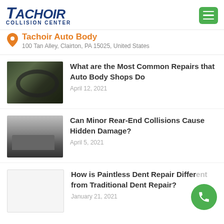[Figure (logo): Tachoir Collision Center logo — italic bold navy blue text with tagline]
Tachoir Auto Body
100 Tan Alley, Clairton, PA 15025, United States
What are the Most Common Repairs that Auto Body Shops Do
April 12, 2021
Can Minor Rear-End Collisions Cause Hidden Damage?
April 5, 2021
How is Paintless Dent Repair Different from Traditional Dent Repair?
January 21, 2021